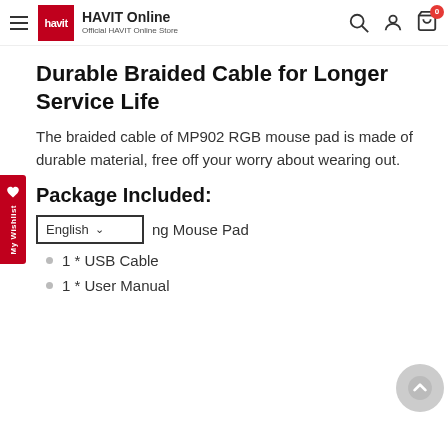HAVIT Online — Official HAVIT Online Store
Durable Braided Cable for Longer Service Life
The braided cable of MP902 RGB mouse pad is made of durable material, free off your worry about wearing out.
Package Included:
ng Mouse Pad
1 * USB Cable
1 * User Manual